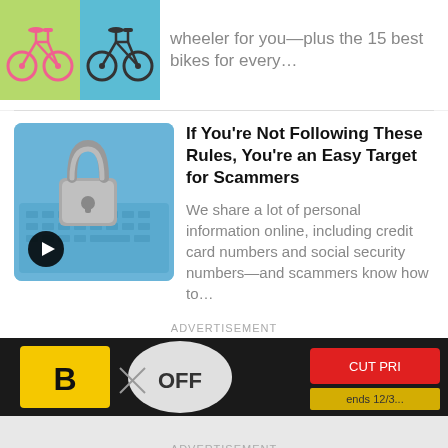[Figure (photo): Two bicycles side by side on colored backgrounds (green and blue)]
wheeler for you—plus the 15 best bikes for every…
[Figure (photo): A padlock on a laptop keyboard with a video play button overlay]
If You're Not Following These Rules, You're an Easy Target for Scammers
We share a lot of personal information online, including credit card numbers and social security numbers—and scammers know how to…
ADVERTISEMENT
[Figure (photo): Advertisement banner with sale tags and promotional signs in yellow, blue, and red]
ADVERTISEMENT